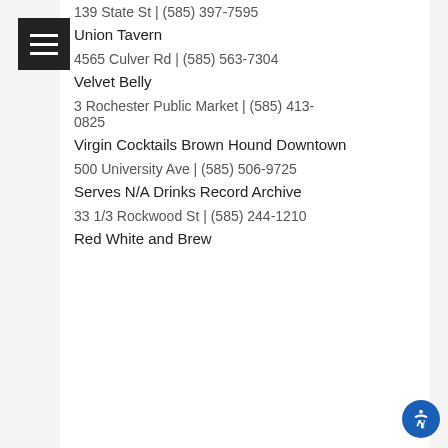139 State St | (585) 397-7595
Union Tavern
4565 Culver Rd | (585) 563-7304
Velvet Belly
3 Rochester Public Market | (585) 413-0825
Virgin Cocktails Brown Hound Downtown
500 University Ave | (585) 506-9725
Serves N/A Drinks Record Archive
33 1/3 Rockwood St | (585) 244-1210
Red White and Brew